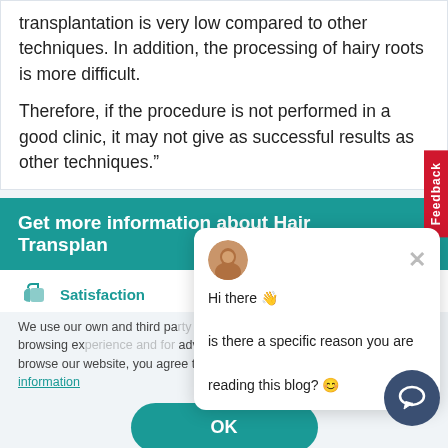transplantation is very low compared to other techniques. In addition, the processing of hairy roots is more difficult.

Therefore, if the procedure is not performed in a good clinic, it may not give as successful results as other techniques."
Get more information about Hair Transplantation
Satisfaction
We use our own and third party cookies to provide you with a better browsing experience and for advertising purposes. By continuing to browse our website, you agree to our use of cookies. Click for detailed information
OK